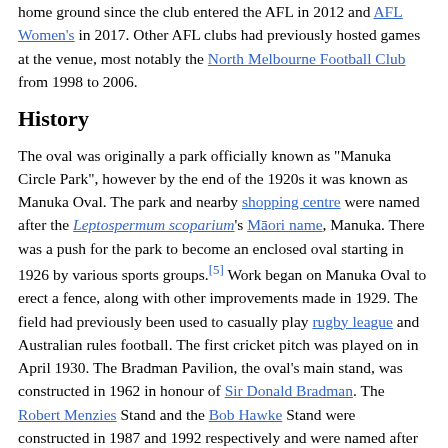home ground since the club entered the AFL in 2012 and AFL Women's in 2017. Other AFL clubs had previously hosted games at the venue, most notably the North Melbourne Football Club from 1998 to 2006.
History
The oval was originally a park officially known as "Manuka Circle Park", however by the end of the 1920s it was known as Manuka Oval. The park and nearby shopping centre were named after the Leptospermum scoparium's Māori name, Manuka. There was a push for the park to become an enclosed oval starting in 1926 by various sports groups.[5] Work began on Manuka Oval to erect a fence, along with other improvements made in 1929. The field had previously been used to casually play rugby league and Australian rules football. The first cricket pitch was played on in April 1930. The Bradman Pavilion, the oval's main stand, was constructed in 1962 in honour of Sir Donald Bradman. The Robert Menzies Stand and the Bob Hawke Stand were constructed in 1987 and 1992 respectively and were named after the first two Australian Prime Ministers to bring international cricket teams to Canberra to play against the Prime Minister's XI.[6] In 2004, Manuka Oval celebrated the 75th anniversary of its formal establishment.